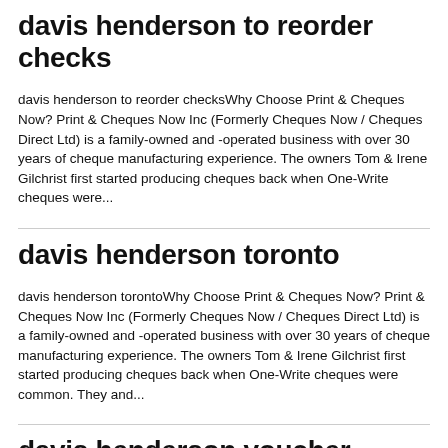davis henderson to reorder checks
davis henderson to reorder checksWhy Choose Print & Cheques Now? Print & Cheques Now Inc (Formerly Cheques Now / Cheques Direct Ltd) is a family-owned and -operated business with over 30 years of cheque manufacturing experience. The owners Tom & Irene Gilchrist first started producing cheques back when One-Write cheques were...
davis henderson toronto
davis henderson torontoWhy Choose Print & Cheques Now? Print & Cheques Now Inc (Formerly Cheques Now / Cheques Direct Ltd) is a family-owned and -operated business with over 30 years of cheque manufacturing experience. The owners Tom & Irene Gilchrist first started producing cheques back when One-Write cheques were common. They and...
davis henderson voucher cheques